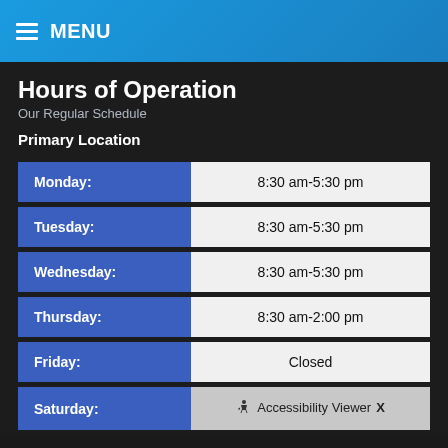MENU
Hours of Operation
Our Regular Schedule
Primary Location
| Day | Hours |
| --- | --- |
| Monday: | 8:30 am-5:30 pm |
| Tuesday: | 8:30 am-5:30 pm |
| Wednesday: | 8:30 am-5:30 pm |
| Thursday: | 8:30 am-2:00 pm |
| Friday: | Closed |
| Saturday: | Accessibility Viewer |